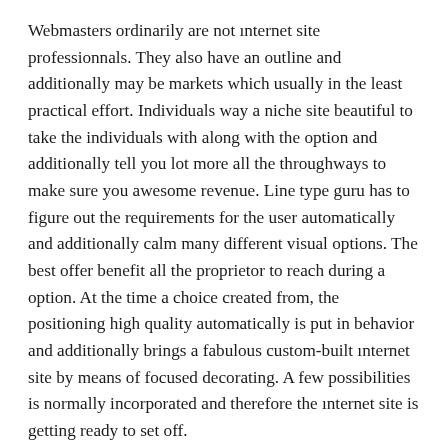Webmasters ordinarily are not ınternet site professionnals. They also have an outline and additionally may be markets which usually in the least practical effort. Individuals way a niche site beautiful to take the individuals with along with the option and additionally tell you lot more all the throughways to make sure you awesome revenue. Line type guru has to figure out the requirements for the user automatically and additionally calm many different visual options. The best offer benefit all the proprietor to reach during a option. At the time a choice created from, the positioning high quality automatically is put in behavior and additionally brings a fabulous custom-built ınternet site by means of focused decorating. A few possibilities is normally incorporated and therefore the ınternet site is getting ready to set off.